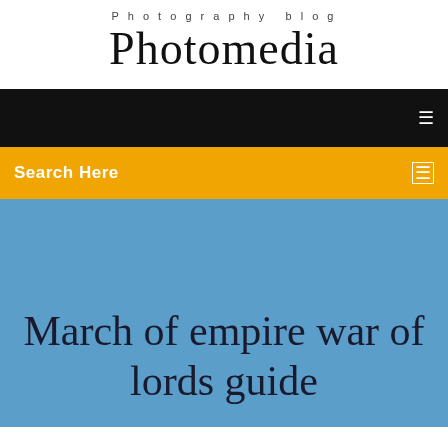Photography blog
Photomedia
[Figure (screenshot): Black navigation bar with white menu icon on right]
Search Here
March of empire war of lords guide